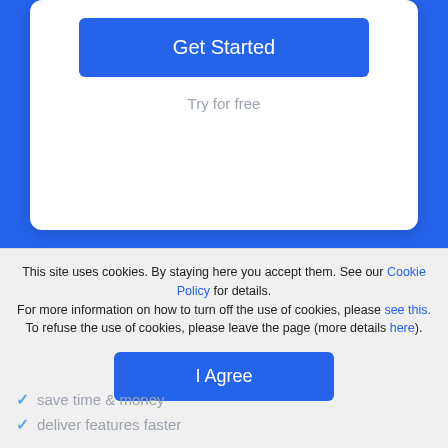[Figure (screenshot): Blue background section with white rounded card containing a blue 'Get Started' button and 'Try for free' text below it.]
This site uses cookies. By staying here you accept them. See our Cookie Policy for details.
For more information on how to turn off the use of cookies, please see this.
To refuse the use of cookies, please leave the page (more details here).
I Agree
save time & money
deliver features faster